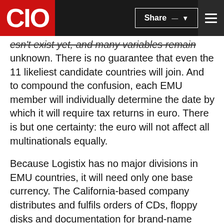CIO | Share | Menu
esn't exist yet, and many variables remain unknown. There is no guarantee that even the 11 likeliest candidate countries will join. And to compound the confusion, each EMU member will individually determine the date by which it will require tax returns in euro. There is but one certainty: the euro will not affect all multinationals equally.
Because Logistix has no major divisions in EMU countries, it will need only one base currency. The California-based company distributes and fulfils orders of CDs, floppy disks and documentation for brand-name software vendors operates its European distribution hub in Dublin, Ireland. Logistix is considering letting buyers pay their bills in euros right from the start, and its bank will convert payments to US dollars for deposit. Logistix will record euro transactions in its accounts receivable program, using euro-compliant R/3 software from SAP AG. Logistix is not trying to